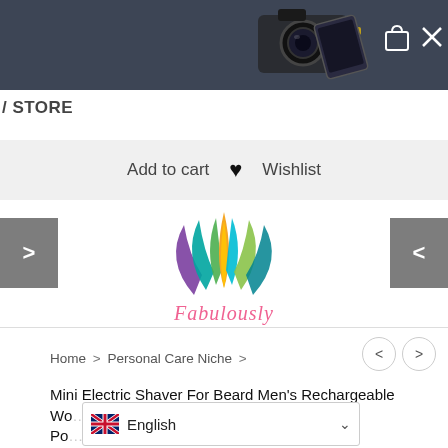[Figure (screenshot): Dark header bar with camera/phone product image, shopping bag icon and X close icon on the right]
/ STORE
Add to cart  ♥  Wishlist
[Figure (logo): Fabulously brand logo — colorful feather/lotus leaves in teal, green, purple, orange with italic script text 'Fabulously' in coral/salmon below]
Home > Personal Care Niche >
Mini Electric Shaver For Beard Men's Rechargeable Wo... ccessories Travel Po... ner New
[Figure (screenshot): Language selector dropdown showing UK flag and 'English' with chevron]